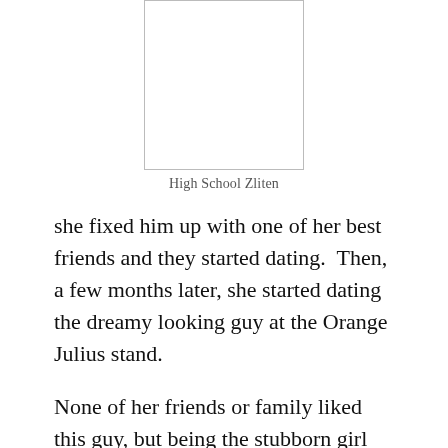[Figure (photo): White/blank rectangular photo placeholder]
High School Zliten
she fixed him up with one of her best friends and they started dating.  Then, a few months later, she started dating the dreamy looking guy at the Orange Julius stand.
None of her friends or family liked this guy, but being the stubborn girl Quix was, she stayed with him, on and off, for about 3 dysfunctional years.  Zliten and said friend went away to college together across the country, broke up a year later, and scattered.  Zliten came back to